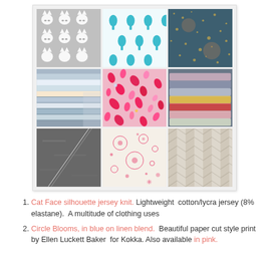[Figure (photo): 3x3 grid collage of fabric and textile photos: (1) white cat face silhouette jersey knit, (2) blue/teal tulip print on white, (3) dark teal fabric with gold metallic dots, (4) stacked rolls of colorful fabric fat quarters, (5) hot pink teardrop/organic shape print, (6) colorful satin ribbon rolls, (7) dark gray asphalt with white line, (8) pink paint splatter on cream linen, (9) gray chevron and flag pattern fabric]
Cat Face silhouette jersey knit. Lightweight cotton/lycra jersey (8% elastane).  A multitude of clothing uses
Circle Blooms, in blue on linen blend.  Beautiful paper cut style print by Ellen Luckett Baker  for Kokka. Also available in pink.